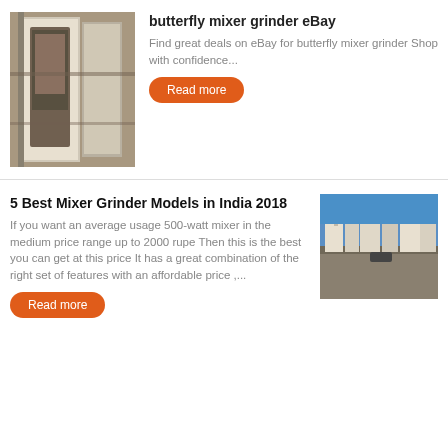[Figure (photo): Photo of an old rusted industrial machine or cabinet interior with worn metal parts]
butterfly mixer grinder eBay
Find great deals on eBay for butterfly mixer grinder Shop with confidence...
Read more
5 Best Mixer Grinder Models in India 2018
If you want an average usage 500-watt mixer in the medium price range up to 2000 rupe Then this is the best you can get at this price It has a great combination of the right set of features with an affordable price ,...
[Figure (photo): Photo of industrial or commercial buildings with blue sky in background]
Read more